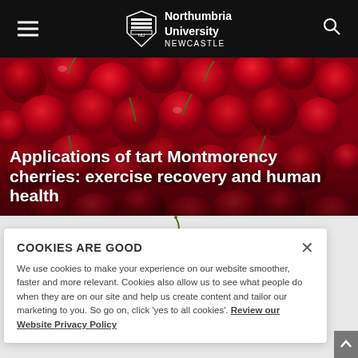Northumbria University NEWCASTLE
[Figure (photo): Close-up photo of red Montmorency cherries filling the frame]
Applications of tart Montmorency cherries: exercise recovery and human health
COOKIES ARE GOOD
We use cookies to make your experience on our website smoother, faster and more relevant. Cookies also allow us to see what people do when they are on our site and help us create content and tailor our marketing to you. So go on, click 'yes to all cookies'. Review our Website Privacy Policy